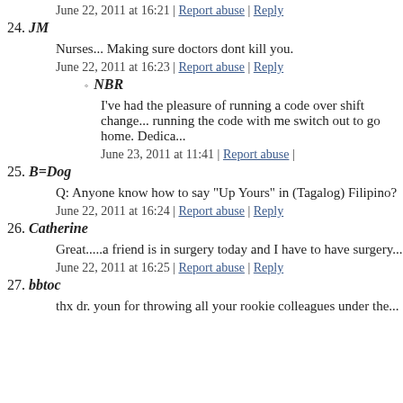June 22, 2011 at 16:21 | Report abuse | Reply
24. JM
Nurses... Making sure doctors dont kill you.
June 22, 2011 at 16:23 | Report abuse | Reply
NBR
I've had the pleasure of running a code over shift change... running the code with me switch out to go home. Dedica...
June 23, 2011 at 11:41 | Report abuse |
25. B=Dog
Q: Anyone know how to say "Up Yours" in (Tagalog) Filipino?
June 22, 2011 at 16:24 | Report abuse | Reply
26. Catherine
Great.....a friend is in surgery today and I have to have surgery...
June 22, 2011 at 16:25 | Report abuse | Reply
27. bbtoc
thx dr. youn for throwing all your rookie colleagues under the...